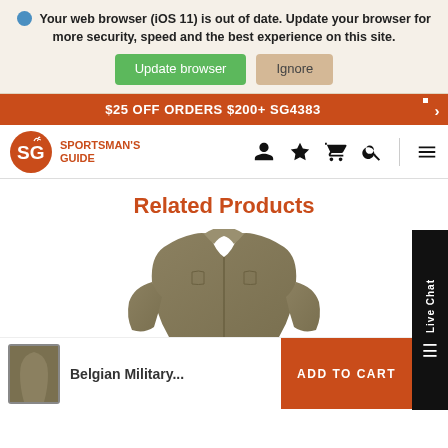Your web browser (iOS 11) is out of date. Update your browser for more security, speed and the best experience on this site.
Update browser  Ignore
$25 OFF ORDERS $200+ SG4383
[Figure (logo): Sportsman's Guide logo with SG circle and text]
[Figure (illustration): Navigation icons: user, star, cart, search, menu]
Related Products
[Figure (photo): Olive/tan military fleece jacket product image]
Belgian Military...
ADD TO CART